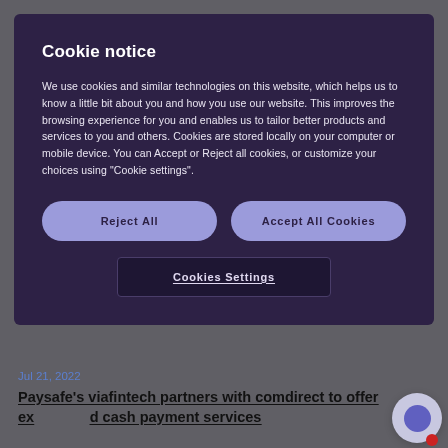Paysafe Group
Cookie notice
We use cookies and similar technologies on this website, which helps us to know a little bit about you and how you use our website. This improves the browsing experience for you and enables us to tailor better products and services to you and others. Cookies are stored locally on your computer or mobile device. You can Accept or Reject all cookies, or customize your choices using "Cookie settings".
Reject All
Accept All Cookies
Cookies Settings
Jul 21, 2022
Paysafe's viafintech partners with comdirect to offer expanded cash payment services